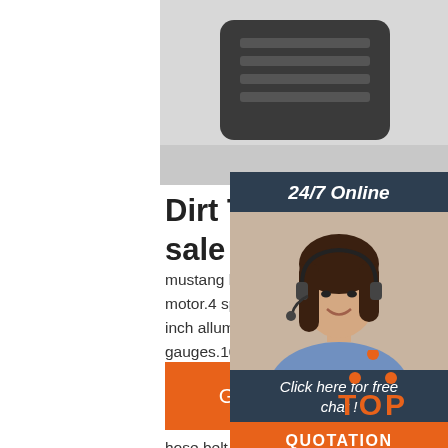[Figure (photo): Partial view of a dark metallic device (appears to be a race car part or electronic equipment) against a light grey background]
Dirt Track Race Car Cars sale - SmartMotorGuide.
mustang lx body.dirt track 4 cylinder race motor.4 speed manual trans.4 link rear end inch alluminum seat.digital oil and water gauges.1000$ just in wheels and tires.body a bit beat up from compeating for the win.the race ready and comes with 2 spare tires and rims.and some other spare parts like radiator hose,belt,some odds and end things.its a fast little car.im ...
[Figure (infographic): Chat widget with 24/7 Online label, agent photo, Click here for free chat text, and QUOTATION button]
[Figure (logo): TOP logo with orange dots arranged in triangle above the word TOP in orange]
Get Price